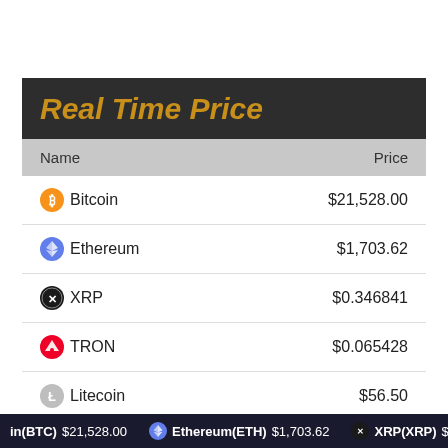Real Time Price
| Name | Price |
| --- | --- |
| Bitcoin | $21,528.00 |
| Ethereum | $1,703.62 |
| XRP | $0.346841 |
| TRON | $0.065428 |
| Litecoin | $56.50 |
| Stellar | $0.109958 |
in(BTC) $21,528.00   Ethereum(ETH) $1,703.62   XRP(XRP) $